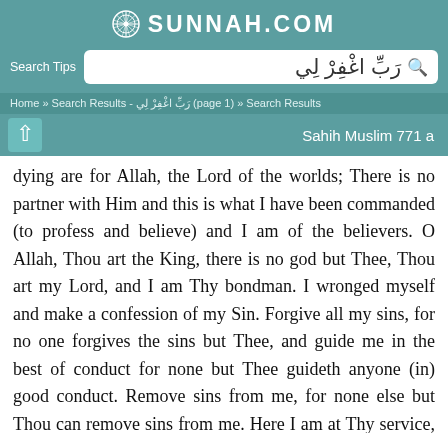SUNNAH.COM
رَبِّ اغْفِرْ لِي
Home » Search Results - رَبِّ اغْفِرْ لِي (page 1) » Search Results
Sahih Muslim 771 a
dying are for Allah, the Lord of the worlds; There is no partner with Him and this is what I have been commanded (to profess and believe) and I am of the believers. O Allah, Thou art the King, there is no god but Thee, Thou art my Lord, and I am Thy bondman. I wronged myself and make a confession of my Sin. Forgive all my sins, for no one forgives the sins but Thee, and guide me in the best of conduct for none but Thee guideth anyone (in) good conduct. Remove sins from me, for none else but Thou can remove sins from me. Here I am at Thy service, and Grace is to Thee and the whole of good is in Thine hand, and one cannot get nearneststo Thee through evil. My (power as well as existence) is due to Thee (Thine grace) and I turn to Thee (for supplication). Thou art blessed and Thou art exalted above from Thee and I